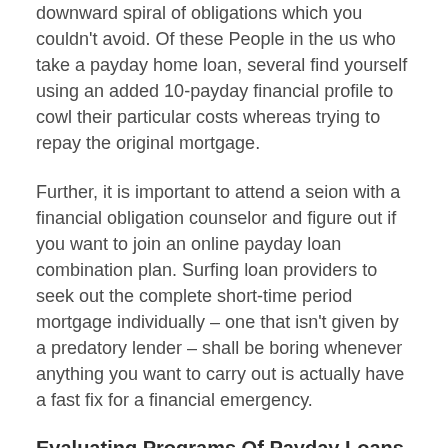downward spiral of obligations which you couldn't avoid. Of these People in the us who take a payday home loan, several find yourself using an added 10-payday financial profile to cowl their particular costs whereas trying to repay the original mortgage.
Further, it is important to attend a seion with a financial obligation counselor and figure out if you want to join an online payday loan combination plan. Surfing loan providers to seek out the complete short-time period mortgage individually – one that isn't given by a predatory lender – shall be boring whenever anything you want to carry out is actually have a fast fix for a financial emergency.
Evaluating Programs Of Payday Loans On Line Virginia
What's the quickest choice to see finances and go broke